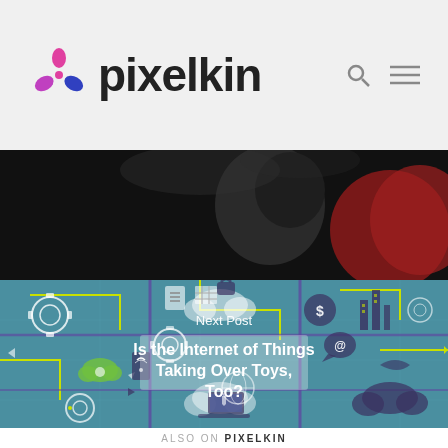pixelkin
[Figure (photo): Dark photo of a person with red clothing, partially visible against a dark background]
[Figure (infographic): Internet of Things concept illustration with teal background showing interconnected icons: gears, clouds, devices, buildings, arrows, padlock, dollar sign, and other technology symbols in purple, white, and yellow-green colors]
Next Post
Is the Internet of Things Taking Over Toys, Too?
ALSO ON PIXELKIN